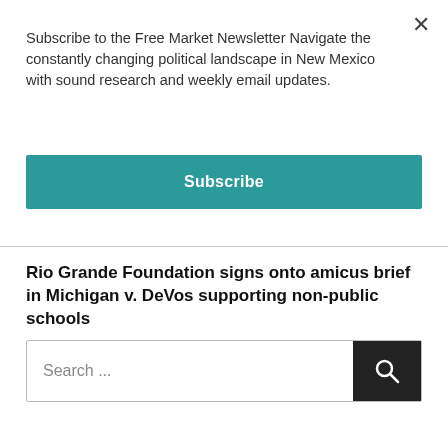Subscribe to the Free Market Newsletter Navigate the constantly changing political landscape in New Mexico with sound research and weekly email updates.
Subscribe
Rio Grande Foundation signs onto amicus brief in Michigan v. DeVos supporting non-public schools →
Search ...